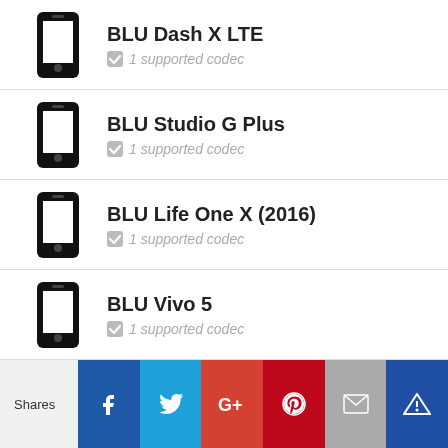BLU Dash X LTE — 1 supported codec
BLU Studio G Plus — 1 supported codec
BLU Life One X (2016) — 1 supported codec
BLU Vivo 5 — 1 supported codec
BLU Studio G LTE